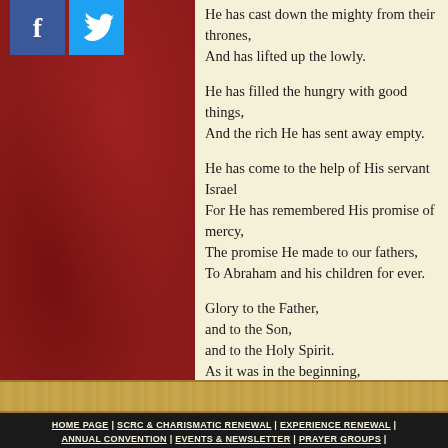[Figure (illustration): Dark red wood-texture left panel with Facebook and Twitter social media icons at top]
He has cast down the mighty from their thrones,
And has lifted up the lowly.

He has filled the hungry with good things,
And the rich He has sent away empty.

He has come to the help of His servant Israel
For He has remembered His promise of mercy,
The promise He made to our fathers,
To Abraham and his children for ever.

Glory to the Father,
and to the Son,
and to the Holy Spirit.
As it was in the beginning,
is now, and will be forever. Amen.
HOME PAGE | SCRC & CHARISMATIC RENEWAL | EXPERIENCE RENEWAL | ANNUAL CONVENTION | EVENTS & NEWSLETTER | PRAYER GROUPS | ONLINE STORE